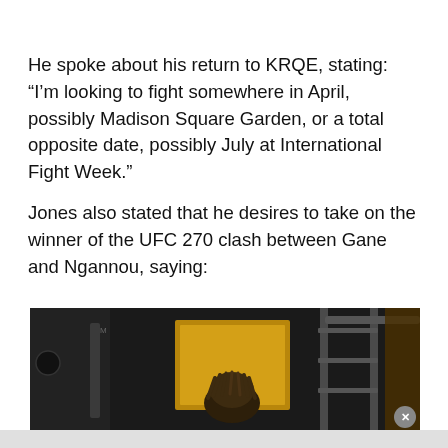He spoke about his return to KRQE, stating: “I’m looking to fight somewhere in April, possibly Madison Square Garden, or a total opposite date, possibly July at International Fight Week.”
Jones also stated that he desires to take on the winner of the UFC 270 clash between Gane and Ngannou, saying:
[Figure (photo): A person (Jones) in what appears to be a gym or backstage facility with metal racks and equipment visible in the background. Dark industrial setting.]